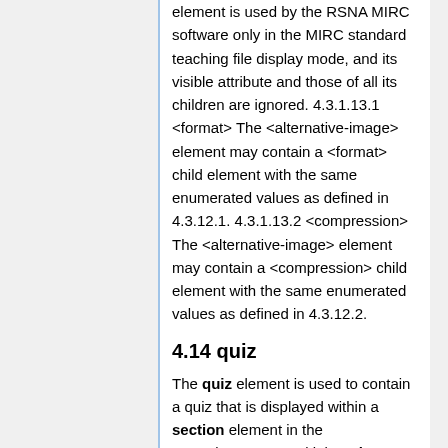element is used by the RSNA MIRC software only in the MIRC standard teaching file display mode, and its visible attribute and those of all its children are ignored. 4.3.1.13.1 <format> The <alternative-image> element may contain a <format> child element with the same enumerated values as defined in 4.3.12.1. 4.3.1.13.2 <compression> The <alternative-image> element may contain a <compression> child element with the same enumerated values as defined in 4.3.12.2.
4.14 quiz
The quiz element is used to contain a quiz that is displayed within a section element in the MIRCdocument. Multiple quiz elements may appear within one section element. Multiple section